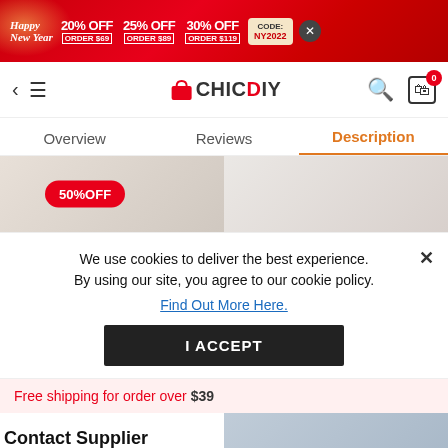[Figure (screenshot): Promotional banner with Happy New Year text and discount offers: 20% OFF ORDER $69, 25% OFF ORDER $89, 30% OFF ORDER $119, CODE: NY2022]
[Figure (logo): ChicDIY shopping app logo with back arrow, hamburger menu, search icon, and cart icon showing 0 items]
Overview   Reviews   Description
[Figure (photo): Two product photos of women in workout/sports bras, left image has 50%OFF badge overlay]
We use cookies to deliver the best experience. By using our site, you agree to our cookie policy. Find Out More Here.
I ACCEPT
Free shipping for order over $39
Contact Supplier
Contact Supplier   Add To Cart   Buy It Now